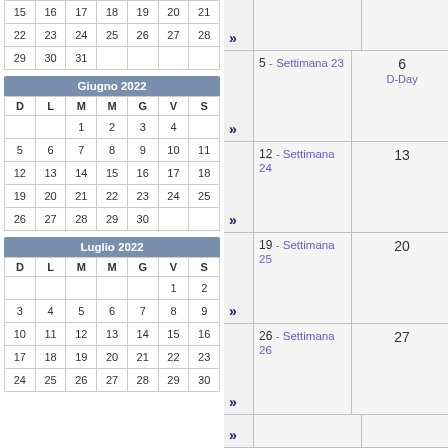| 15 | 16 | 17 | 18 | 19 | 20 | 21 |
| 22 | 23 | 24 | 25 | 26 | 27 | 28 |
| 29 | 30 | 31 |  |  |  |  |
| D | L | M | M | G | V | S |
| --- | --- | --- | --- | --- | --- | --- |
|  |  | 1 | 2 | 3 | 4 |
| 5 | 6 | 7 | 8 | 9 | 10 | 11 |
| 12 | 13 | 14 | 15 | 16 | 17 | 18 |
| 19 | 20 | 21 | 22 | 23 | 24 | 25 |
| 26 | 27 | 28 | 29 | 30 |  |  |
| D | L | M | M | G | V | S |
| --- | --- | --- | --- | --- | --- | --- |
|  |  |  |  |  | 1 | 2 |
| 3 | 4 | 5 | 6 | 7 | 8 | 9 |
| 10 | 11 | 12 | 13 | 14 | 15 | 16 |
| 17 | 18 | 19 | 20 | 21 | 22 | 23 |
| 24 | 25 | 26 | 27 | 28 | 29 | 30 |
5 - Settimana 23 | 6 D-Day
12 - Settimana 24 | 13
19 - Settimana 25 | 20
26 - Settimana 26 | 27